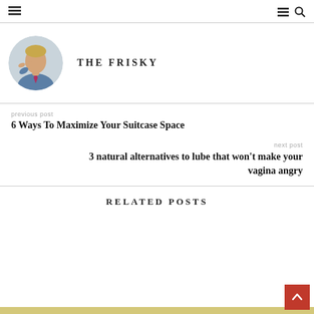THE FRISKY — navigation bar with hamburger menus and search icon
[Figure (photo): Circular avatar photo of a young man in a blue shirt and tie, hand raised to chin]
THE FRISKY
previous post
6 Ways To Maximize Your Suitcase Space
next post
3 natural alternatives to lube that won't make your vagina angry
RELATED POSTS